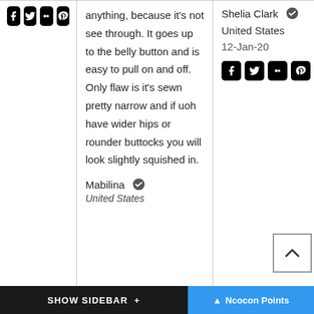[Figure (other): Four social media icons (Facebook, Twitter, Google+, Pinterest) as black rounded square buttons in the left column]
anything, because it's not see through. It goes up to the belly button and is easy to pull on and off. Only flaw is it's sewn pretty narrow and if uoh have wider hips or rounder buttocks you will look slightly squished in.
Mabilina ✓
United States
Shelia Clark ✓
United States
12-Jan-20
[Figure (other): Four social media icons (Facebook, Twitter, Google+, Pinterest) as black rounded square buttons in the right column]
[Figure (other): Back to top button with upward chevron arrow]
SHOW SIDEBAR +   ^ Ncocon Points